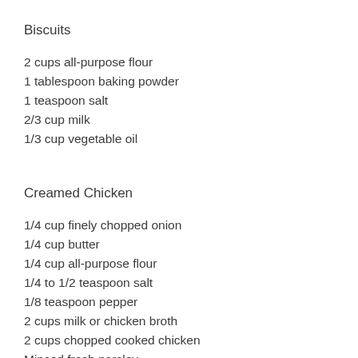Biscuits
2 cups all-purpose flour
1 tablespoon baking powder
1 teaspoon salt
2/3 cup milk
1/3 cup vegetable oil
Creamed Chicken
1/4 cup finely chopped onion
1/4 cup butter
1/4 cup all-purpose flour
1/4 to 1/2 teaspoon salt
1/8 teaspoon pepper
2 cups milk or chicken broth
2 cups chopped cooked chicken
Minced fresh parsley